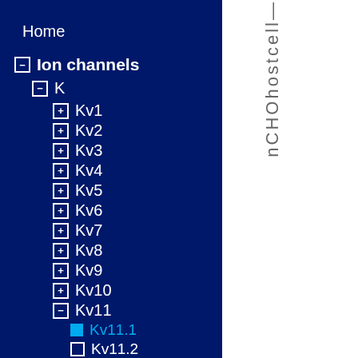Home
− Ion channels
− K
+ Kv1
+ Kv2
+ Kv3
+ Kv4
+ Kv5
+ Kv6
+ Kv7
+ Kv8
+ Kv9
+ Kv10
− Kv11
Kv11.1 (active/selected)
Kv11.2
nCHOhostcell—
datasheet